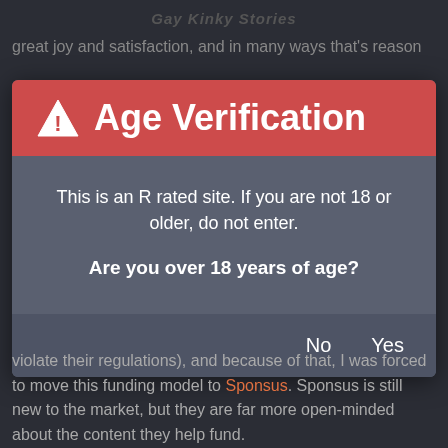Gay Kinky Stories
great joy and satisfaction, and in many ways that's reason
[Figure (screenshot): Age Verification modal dialog with red header containing warning triangle icon and 'Age Verification' title, dark grey body with text 'This is an R rated site. If you are not 18 or older, do not enter. Are you over 18 years of age?' and footer with No and Yes buttons.]
violate their regulations), and because of that, I was forced to move this funding model to Sponsus. Sponsus is still new to the market, but they are far more open-minded about the content they help fund.